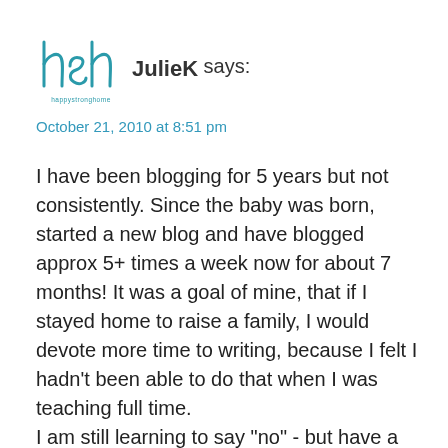[Figure (logo): hsh happystronghome cursive logo in teal]
JulieK says:
October 21, 2010 at 8:51 pm
I have been blogging for 5 years but not consistently. Since the baby was born, started a new blog and have blogged approx 5+ times a week now for about 7 months! It was a goal of mine, that if I stayed home to raise a family, I would devote more time to writing, because I felt I hadn't been able to do that when I was teaching full time.
I am still learning to say "no" - but have a hard time b/c I want to do it nicely and not "burn bridges."
I am always struggling to be brief. It is NOT a strong point with me. I find I can edit out the little extra words like trimming fingernails, but cut whole sentences or